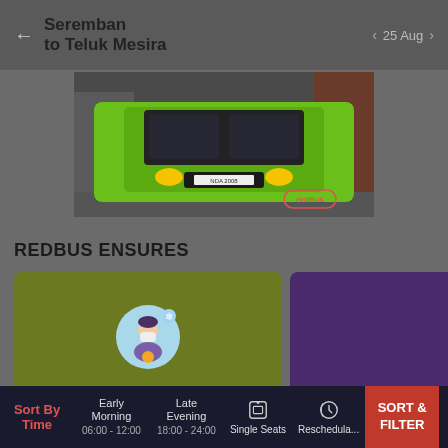Seremban to Teluk Mesira
25 Aug
[Figure (photo): Front view of a green bus with yellow headlights and license plate, with redBus watermark in bottom right]
REDBUS ENSURES
[Figure (illustration): Green card with circular illustration of a person wearing a mask with snowflake/health icons]
[Figure (illustration): Purple card partially visible on right side]
Sort By Time | Early Morning 06:00 - 12:00 | Late Evening 18:00 - 24:00 | Single Seats | Reschedule | SORT & FILTER